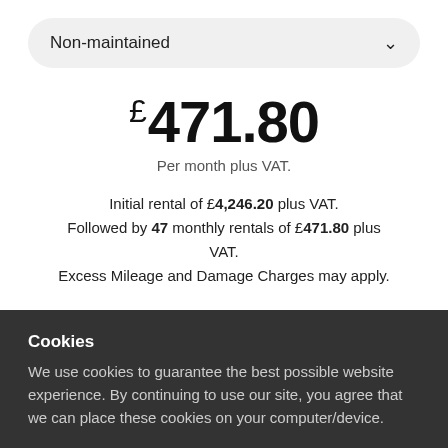Non-maintained
£471.80
Per month plus VAT.
Initial rental of £4,246.20 plus VAT. Followed by 47 monthly rentals of £471.80 plus VAT. Excess Mileage and Damage Charges may apply.
Cookies
We use cookies to guarantee the best possible website experience. By continuing to use our site, you agree that we can place these cookies on your computer/device.
CONTINUE
View Privacy Policy